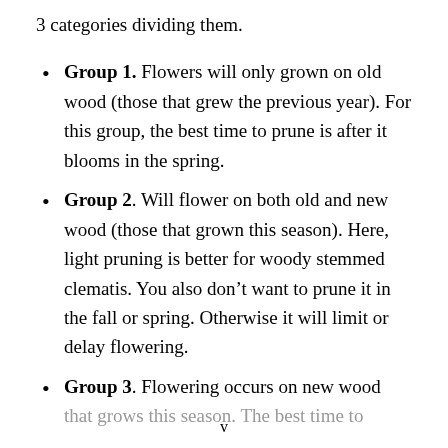3 categories dividing them.
Group 1. Flowers will only grown on old wood (those that grew the previous year). For this group, the best time to prune is after it blooms in the spring.
Group 2. Will flower on both old and new wood (those that grown this season). Here, light pruning is better for woody stemmed clematis. You also don't want to prune it in the fall or spring. Otherwise it will limit or delay flowering.
Group 3. Flowering occurs on new wood that grows this season. The best time to...
v